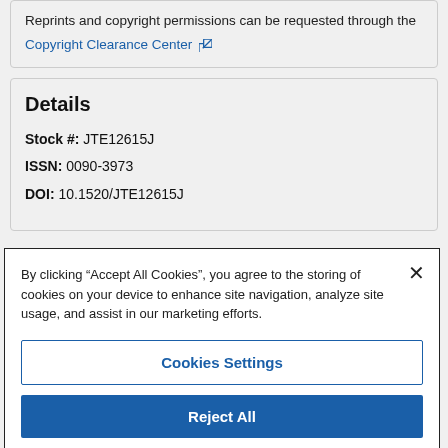Reprints and copyright permissions can be requested through the Copyright Clearance Center
Details
Stock #: JTE12615J
ISSN: 0090-3973
DOI: 10.1520/JTE12615J
By clicking "Accept All Cookies", you agree to the storing of cookies on your device to enhance site navigation, analyze site usage, and assist in our marketing efforts.
Cookies Settings
Reject All